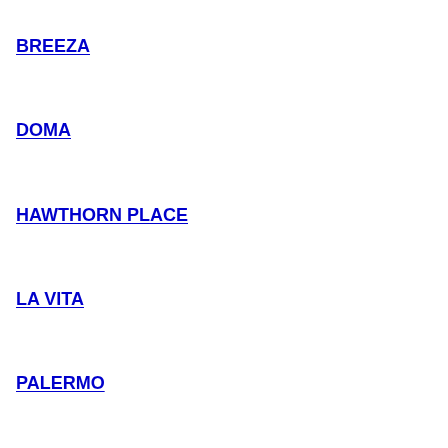BREEZA
DOMA
HAWTHORN PLACE
LA VITA
PALERMO